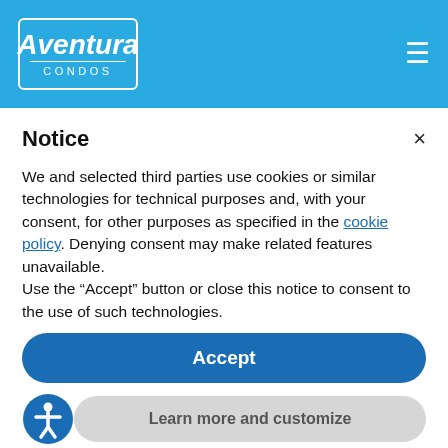Aventura CONDOS
PHONE
Notice
We and selected third parties use cookies or similar technologies for technical purposes and, with your consent, for other purposes as specified in the cookie policy. Denying consent may make related features unavailable.
Use the “Accept” button or close this notice to consent to the use of such technologies.
Accept
Learn more and customize